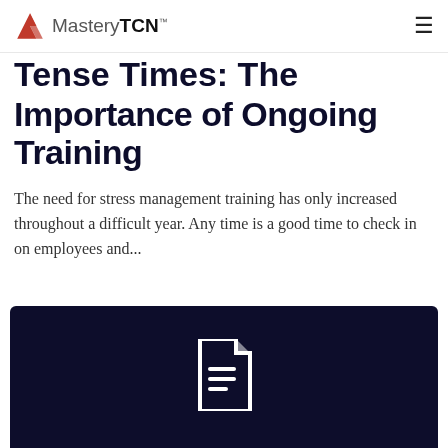MasteryTCN™
Tense Times: The Importance of Ongoing Training
The need for stress management training has only increased throughout a difficult year. Any time is a good time to check in on employees and...
[Figure (illustration): Dark navy card with a white document/file icon centered on it]